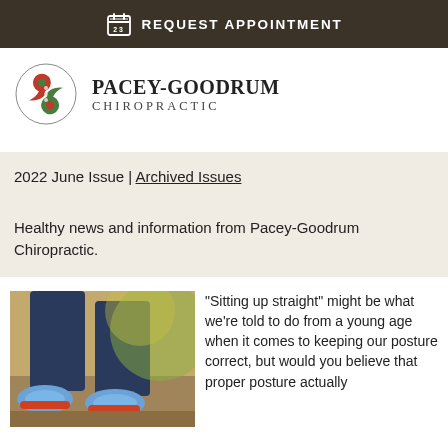REQUEST APPOINTMENT
[Figure (logo): Pacey-Goodrum Chiropractic logo with red and green yin-yang style emblem]
PACEY-GOODRUM CHIROPRACTIC
2022 June Issue | Archived Issues
Healthy news and information from Pacey-Goodrum Chiropractic.
[Figure (photo): Close-up photo of person walking outdoors wearing blue sneakers and jeans]
“Sitting up straight” might be what we’re told to do from a young age when it comes to keeping our posture correct, but would you believe that proper posture actually